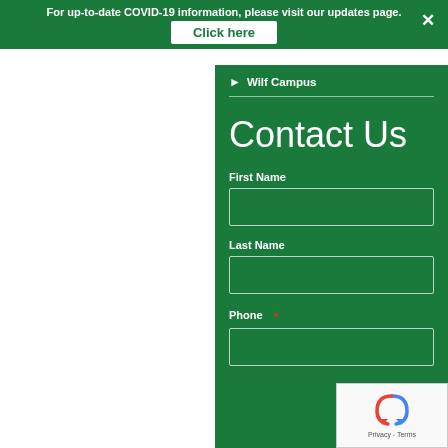For up-to-date COVID-19 information, please visit our updates page. Click here
Wilf Campus
Contact Us
First Name
Last Name
Phone *